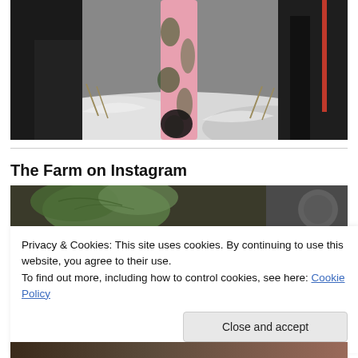[Figure (photo): Outdoor winter scene showing snow on the ground, a pink camouflage rifle or gun stock visible in the center, and dark outerwear/equipment on either side.]
The Farm on Instagram
[Figure (photo): Instagram feed photo showing green plant leaves, possibly herbs or seedlings, with a dark background.]
Privacy & Cookies: This site uses cookies. By continuing to use this website, you agree to their use.
To find out more, including how to control cookies, see here: Cookie Policy
Close and accept